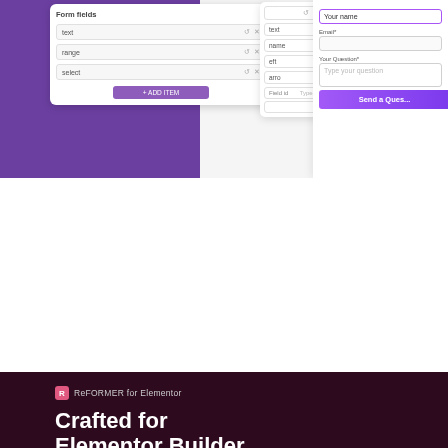[Figure (screenshot): Screenshot of a form builder UI showing a panel with form fields (text, range, select) with an ADD ITEM button, alongside a right panel showing a preview form with fields: Your name, Email*, Your Question*, Type your question, and a Send a Ques... button.]
[Figure (screenshot): Screenshot of a dark maroon landing page for 'ReFORMER for Elementor' with white bold heading 'Crafted for Elementor Builder', and below it a screenshot showing the Elementor editor sidebar and a contact form with fields for first name, last name, email, and date, alongside a customer support photo.]